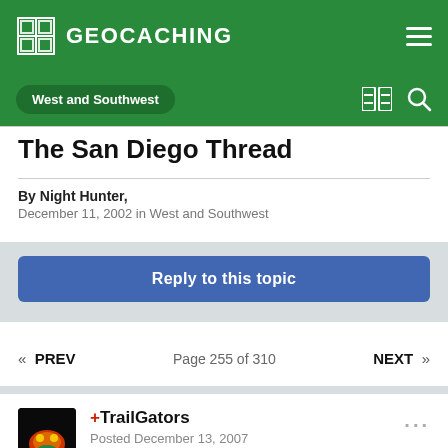GEOCACHING
West and Southwest
The San Diego Thread
By Night Hunter,
December 11, 2002 in West and Southwest
Reply to this topic
« PREV   Page 255 of 310   NEXT »
+TrailGators
Posted December 13, 2007